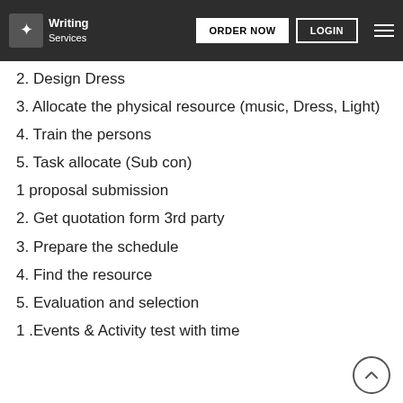Writing Services | ORDER NOW | LOGIN
2. Design Dress
3. Allocate the physical resource (music, Dress, Light)
4. Train the persons
5. Task allocate (Sub con)
1 proposal submission
2. Get quotation form 3rd party
3. Prepare the schedule
4. Find the resource
5. Evaluation and selection
1 .Events & Activity test with time